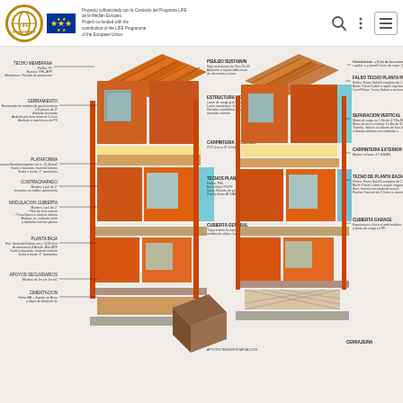Project co-financed with the Commission and Programme LIFE of the Median European. Project co-funded with the contribution of the LIFE Programme of the European Union.
[Figure (engineering-diagram): Exploded axonometric architectural diagram showing two building cross-sections side by side with labeled construction layers including roof, walls, floors, windows, and structural elements. Labels in Spanish describe materials and specifications for: TECHO MEMBRANA, CERRAMIENTO, PLATAFORMA, CONTRACHAPADO, MODULACION, PLANTA BAJA, APOYOS SECUNDARIOS, CIMENTACION on the left building; and FALSO TECHO, ESTRUCTURA METALICA, CARPINTERIA EXTERIOR, TECHOS PLANTA BAJA, CUBIERTA GENERAL, AISLAMIENTOS on center; CERRAJERIA, CELOSIA, PLATAFORMA, CONTRACHAPADO, MECANICA, ESCALERA/PETO, PLANTA BAJA on right building; and FALSO TECHO, SEPARACION VERTICAL, CARPINTERIA EXTERIOR, TECHO DE PLANTA BAJA, CUBIERTA GARAGE on far right.]